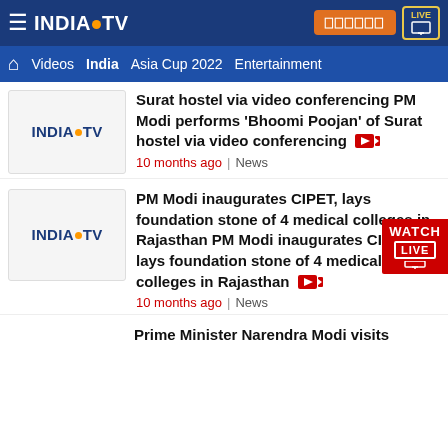INDIA TV — Navigation: Videos, India, Asia Cup 2022, Entertainment
Surat hostel via video conferencing PM Modi performs 'Bhoomi Poojan' of Surat hostel via video conferencing
10 months ago | News
PM Modi inaugurates CIPET, lays foundation stone of 4 medical colleges in Rajasthan PM Modi inaugurates CIPET, lays foundation stone of 4 medical colleges in Rajasthan
10 months ago | News
Prime Minister Narendra Modi visits